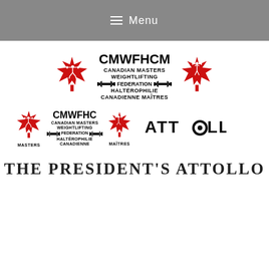≡ Menu
[Figure (logo): CMWFHCM Canadian Masters Weightlifting Federation Haltérophilie Canadienne Maîtres logo with two maple leaf graphics and barbell icons]
[Figure (logo): CMWFHC Canadian Masters Weightlifting Federation Haltérophilie Canadienne logo with maple leaf graphics labeled MASTERS and MAÎTRES, plus ATTOLLO sponsor logo]
THE PRESIDENT'S ATTOLLO